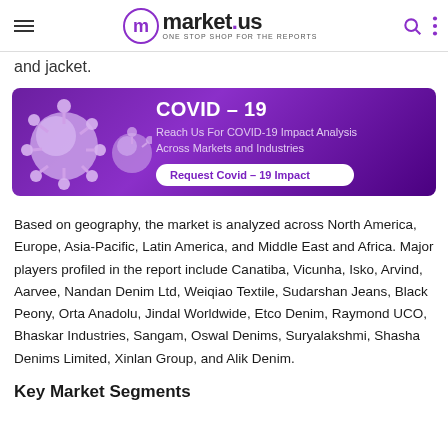market.us — ONE STOP SHOP FOR THE REPORTS
and jacket.
[Figure (infographic): COVID-19 banner with purple gradient background showing virus illustration on the left, text 'COVID – 19 Reach Us For COVID-19 Impact Analysis Across Markets and Industries' and a button 'Request Covid – 19 Impact']
Based on geography, the market is analyzed across North America, Europe, Asia-Pacific, Latin America, and Middle East and Africa. Major players profiled in the report include Canatiba, Vicunha, Isko, Arvind, Aarvee, Nandan Denim Ltd, Weiqiao Textile, Sudarshan Jeans, Black Peony, Orta Anadolu, Jindal Worldwide, Etco Denim, Raymond UCO, Bhaskar Industries, Sangam, Oswal Denims, Suryalakshmi, Shasha Denims Limited, Xinlan Group, and Alik Denim.
Key Market Segments